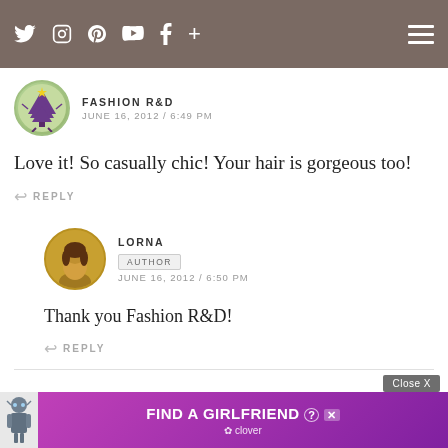Social media icons header navigation
FASHION R&D
JUNE 16, 2012 / 6:49 PM
Love it! So casually chic! Your hair is gorgeous too!
↩ REPLY
LORNA
AUTHOR
JUNE 16, 2012 / 6:50 PM
Thank you Fashion R&D!
↩ REPLY
[Figure (other): Advertisement banner: FIND A GIRLFRIEND - Clover app ad with purple background and close button]